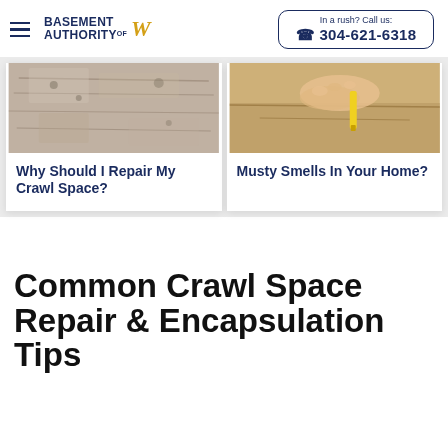Basement Authority of WV | In a rush? Call us: 304-621-6318
[Figure (photo): Close-up photo of a crawl space wall with mold/efflorescence]
[Figure (photo): Close-up photo of a hand holding a moisture meter against a damp surface]
Why Should I Repair My Crawl Space?
Musty Smells In Your Home?
Common Crawl Space Repair & Encapsulation Tips